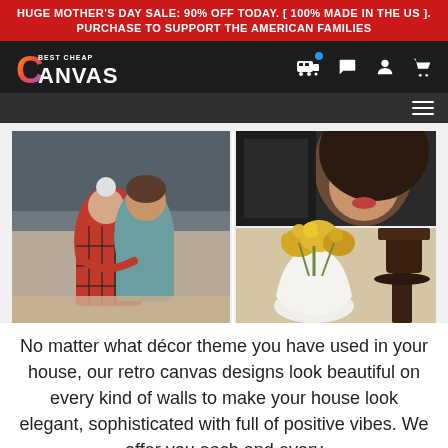HUGE MOTHER'S DAY SALE: 90% OFF TODAY. [ 100% MADE IN THE US ]. PURCHASE TO SUPPORT THE AMERICAN FAMILIES
[Figure (logo): Best Cheap Canvas logo with colorful C and text]
[Figure (photo): Mosaic of two photos: left shows an older woman and younger woman hugging on a beach, right shows a close-up portrait of a woman and a decorative vase with flowers]
No matter what décor theme you have used in your house, our retro canvas designs look beautiful on every kind of walls to make your house look elegant, sophisticated with full of positive vibes. We offer you each and every